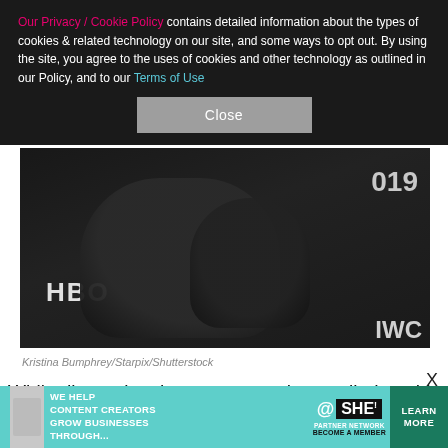Our Privacy / Cookie Policy contains detailed information about the types of cookies & related technology on our site, and some ways to opt out. By using the site, you agree to the uses of cookies and other technology as outlined in our Policy, and to our Terms of Use
Close
[Figure (photo): Photo of persons at an HBO event, with HBO logo visible in background and '019' text, and 'IWC' text. Dark background.]
Kristina Bumphrey/Starpix/Shutterstock
While discussing the tax returns that spelled out his income, Tyrese said to the questioning attorney, "I don't do the CFO thing. Here's a question to you, smart
[Figure (infographic): Advertisement banner: WE HELP CONTENT CREATORS GROW BUSINESSES THROUGH... SHE PARTNER NETWORK BECOME A MEMBER | LEARN MORE]